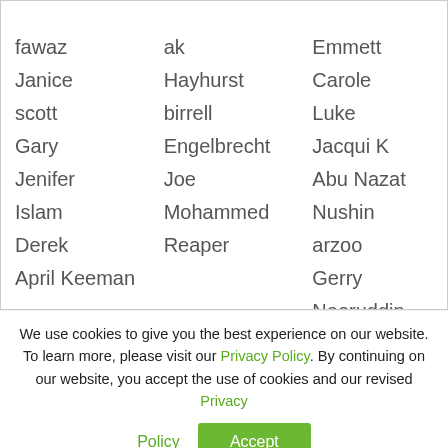| First | Last | Display |
| --- | --- | --- |
| fawaz | ak | Emmett |
| Janice | Hayhurst | Carole |
| scott | birrell | Luke |
| Gary | Engelbrecht | Jacqui K |
| Jenifer | Joe | Abu Nazat |
| Islam | Mohammed | Nushin |
| Derek | Reaper | arzoo |
| April Keeman |  | Gerry |
| Jordan | Sheriff | Nooruddin Saheb |
| nirosha | riyaz | Alexander |
| Vaishali | Vyas | Luciana |
| Sabina | Patel | Maureen |
We use cookies to give you the best experience on our website. To learn more, please visit our Privacy Policy. By continuing on our website, you accept the use of cookies and our revised Privacy Policy